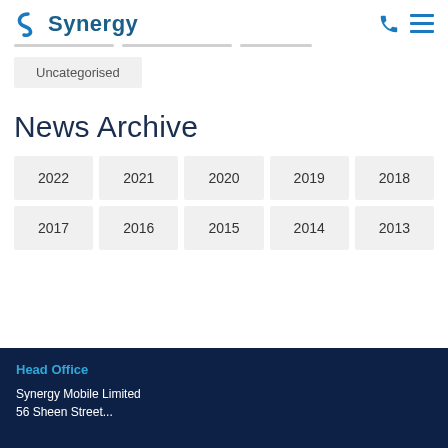Synergy
Uncategorised
News Archive
2022
2021
2020
2019
2018
2017
2016
2015
2014
2013
Head Office
Synergy Mobile Limited